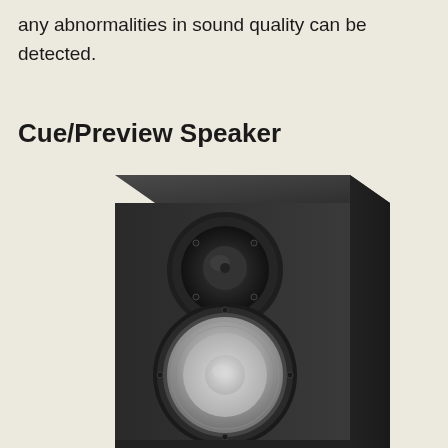any abnormalities in sound quality can be detected.
Cue/Preview Speaker
[Figure (photo): A black studio monitor speaker (Yamaha HS series style) shown in a 3/4 perspective view, with a tweeter (small circular driver at top) and a larger woofer (silver/white cone at bottom) visible on the front baffle. The cabinet is matte black.]